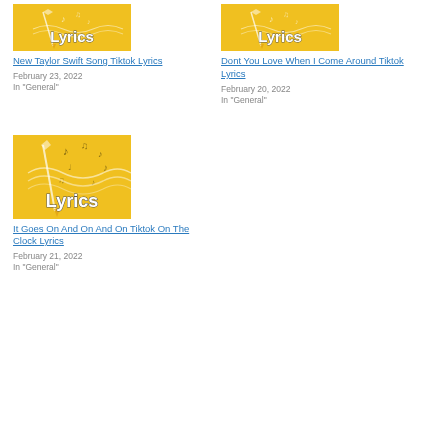[Figure (illustration): Yellow 'Lyrics' thumbnail with pencil and music notes graphic]
New Taylor Swift Song Tiktok Lyrics
February 23, 2022
In "General"
[Figure (illustration): Yellow 'Lyrics' thumbnail with pencil and music notes graphic]
Dont You Love When I Come Around Tiktok Lyrics
February 20, 2022
In "General"
[Figure (illustration): Yellow 'Lyrics' thumbnail with pencil and music notes graphic]
It Goes On And On And On Tiktok On The Clock Lyrics
February 21, 2022
In "General"